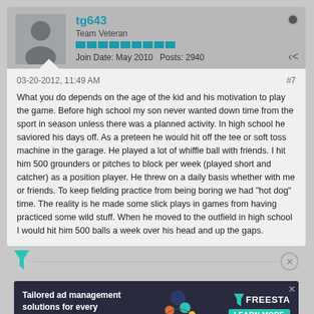tg643 | Team Veteran | Join Date: May 2010 | Posts: 2940
03-20-2012, 11:49 AM
#7
What you do depends on the age of the kid and his motivation to play the game. Before high school my son never wanted down time from the sport in season unless there was a planned activity. In high school he saviored his days off. As a preteen he would hit off the tee or soft toss machine in the garage. He played a lot of whiffle ball with friends. I hit him 500 grounders or pitches to block per week (played short and catcher) as a position player. He threw on a daily basis whether with me or friends. To keep fielding practice from being boring we had "hot dog" time. The reality is he made some slick plays in games from having practiced some wild stuff. When he moved to the outfield in high school I would hit him 500 balls a week over his head and up the gaps.
[Figure (screenshot): Advertisement banner: Tailored ad management solutions for every publisher - Freesta]
Join Date: May 2008  Posts: 1787